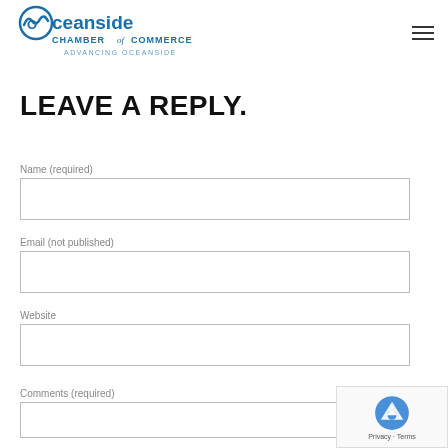[Figure (logo): Oceanside Chamber of Commerce logo with stylized wave icon and tagline 'Advancing Oceanside']
LEAVE A REPLY.
Name (required)
Email (not published)
Website
Comments (required)